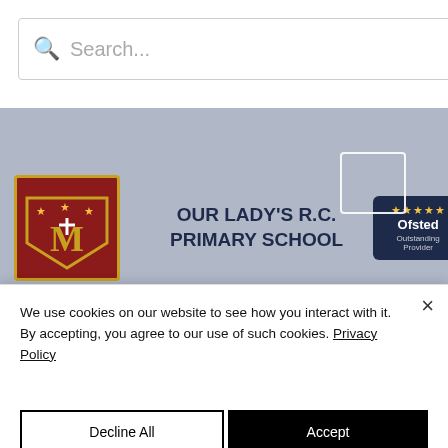[Figure (screenshot): School website search bar with magnifying glass icon and placeholder text 'Search...']
[Figure (logo): Our Lady's R.C. Primary School logo with school crest, school name, and Ofsted Outstanding Provider badge on a grey header background]
Holly Road, Aspull, Wigan, WN2 1RU
Please CLICK HERE to view our Privacy Notice
QUICK LINKS
We use cookies on our website to see how you interact with it. By accepting, you agree to our use of such cookies. Privacy Policy
Decline All
Accept
Settings